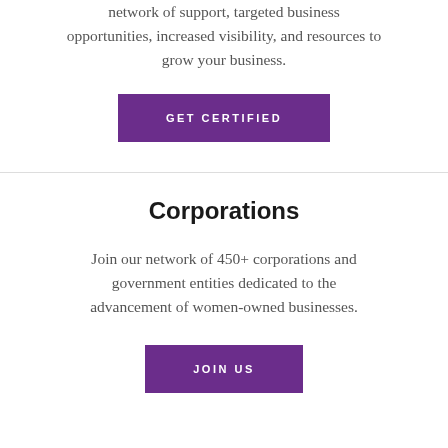network of support, targeted business opportunities, increased visibility, and resources to grow your business.
GET CERTIFIED
Corporations
Join our network of 450+ corporations and government entities dedicated to the advancement of women-owned businesses.
JOIN US